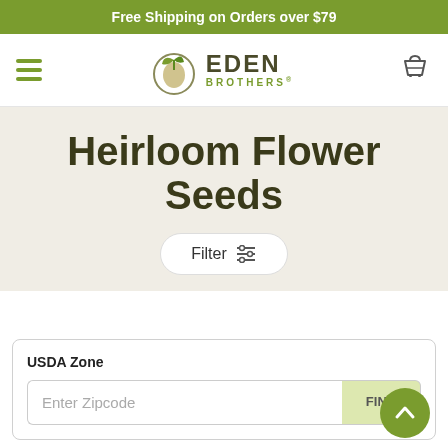Free Shipping on Orders over $79
[Figure (logo): Eden Brothers seed company logo with leaf and seed icon]
Heirloom Flower Seeds
Filter
USDA Zone
Enter Zipcode
FIND